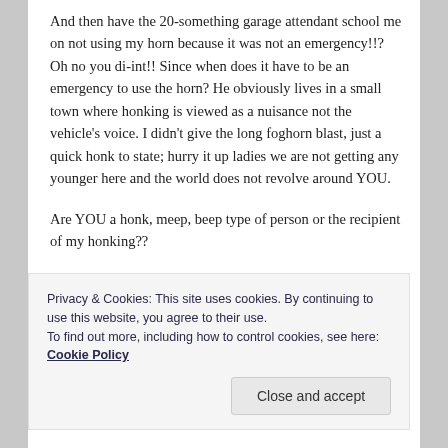And then have the 20-something garage attendant school me on not using my horn because it was not an emergency!!? Oh no you di-int!! Since when does it have to be an emergency to use the horn? He obviously lives in a small town where honking is viewed as a nuisance not the vehicle's voice. I didn't give the long foghorn blast, just a quick honk to state; hurry it up ladies we are not getting any younger here and the world does not revolve around YOU.
Are YOU a honk, meep, beep type of person or the recipient of my honking??
Privacy & Cookies: This site uses cookies. By continuing to use this website, you agree to their use.
To find out more, including how to control cookies, see here: Cookie Policy